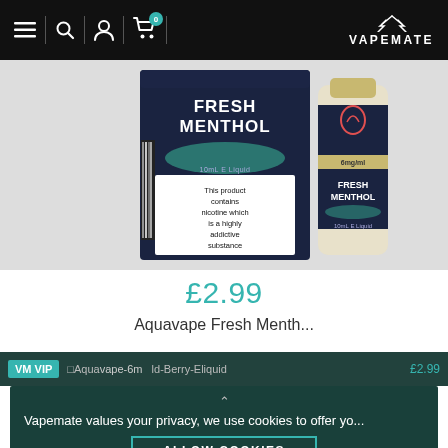Vapemate navigation header with menu, search, account, cart (0), and VAPEMATE logo
[Figure (photo): Fresh Menthol e-liquid product box and bottle. Box shows 'FRESH MENTHOL 10mL E Liquid' with warning 'This product contains nicotine which is a highly addictive substance'. Bottle shows FRESH MENTHOL label.]
£2.99
Aquavape Fresh Menth...
Vapemate values your privacy, we use cookies to offer yo...
VM VIP
Aquavape-6m  ld-Berr -Eliquid  £2.99
ALLOW COOKIES